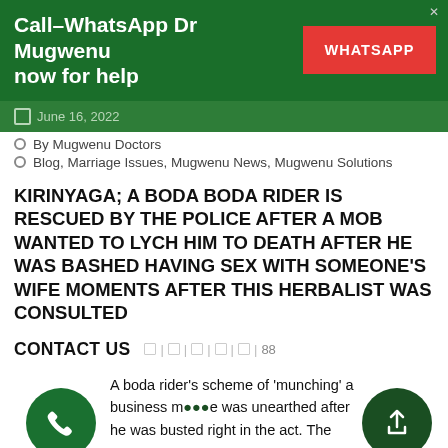Call–WhatsApp Dr Mugwenu now for help  WHATSAPP
June 16, 2022
By Mugwenu Doctors
Blog, Marriage Issues, Mugwenu News, Mugwenu Solutions
KIRINYAGA; A BODA BODA RIDER IS RESCUED BY THE POLICE AFTER A MOB WANTED TO LYCH HIM TO DEATH AFTER HE WAS BASHED HAVING SEX WITH SOMEONE'S WIFE MOMENTS AFTER THIS HERBALIST WAS CONSULTED
CONTACT US
A boda rider's scheme of 'munching' a business m... was unearthed after he was busted right in the act. The